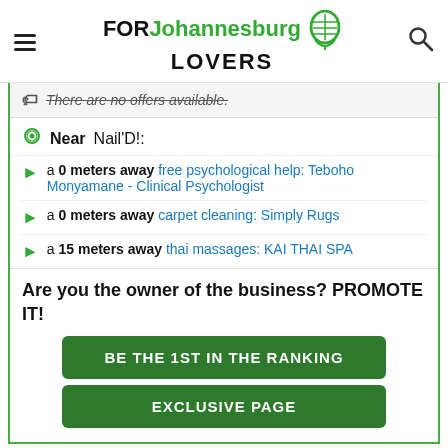FOR Johannesburg LOVERS
There are no offers available.
Near Nail'D!:
a 0 meters away free psychological help: Teboho Monyamane - Clinical Psychologist
a 0 meters away carpet cleaning: Simply Rugs
a 15 meters away thai massages: KAI THAI SPA
Are you the owner of the business? PROMOTE IT!
BE THE 1ST IN THE RANKING
EXCLUSIVE PAGE